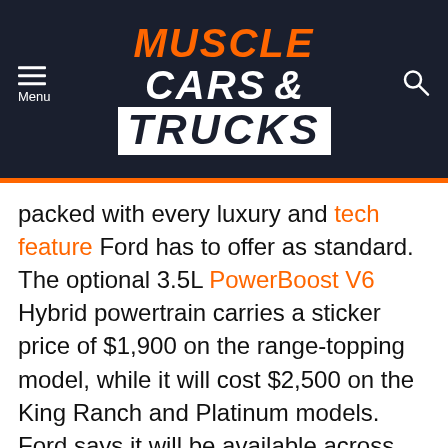[Figure (logo): Muscle Cars & Trucks website header with logo on dark navy background, menu icon on left, search icon on right]
packed with every luxury and tech feature Ford has to offer as standard. The optional 3.5L PowerBoost V6 Hybrid powertrain carries a sticker price of $1,900 on the range-topping model, while it will cost $2,500 on the King Ranch and Platinum models. Ford says it will be available across the entire lineup, but the option is notably missing on the lower model's configurators at this time. Other new options like the Interior Work Surface and Max Recline Seat carry prices of $165 and $340 respectively.